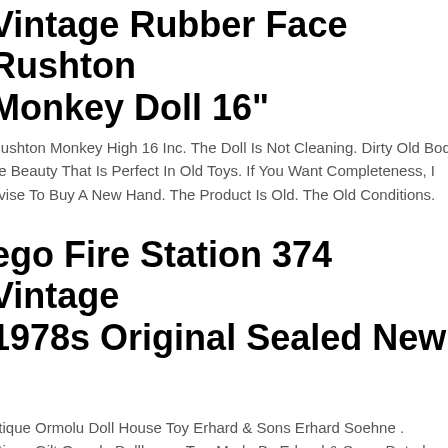Vintage Rubber Face Rushton Monkey Doll 16"
Rushton Monkey High 16 Inc. The Doll Is Not Cleaning. Dirty Old Body he Beauty That Is Perfect In Old Toys. If You Want Completeness, I dvise To Buy A New Hand. The Product Is Old. The Old Conditions.
Lego Fire Station 374 Vintage 1978s Original Sealed New
Antique Ormolu Doll House Toy Erhard & Sons Erhard Soehne . Antique Gilt Ormolu Dollhouse Toy, Made By Erhard & Sons, Dated bout 1900. Beautiful Original Gilding. Antikes Spielzeug, Erhard & hne, Um 1900. Wunderschnes, Prunkvolles Regal In Der Sehr eltenen, Kleinen Ausfhrung.